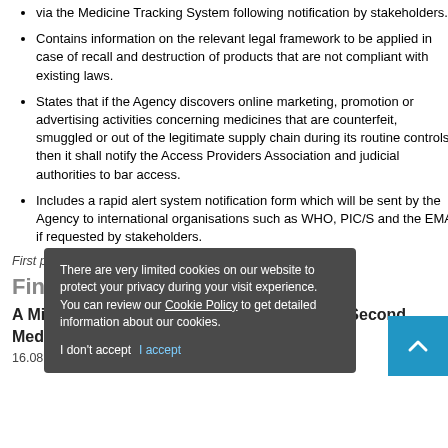via the Medicine Tracking System following notification by stakeholders.
Contains information on the relevant legal framework to be applied in case of recall and destruction of products that are not compliant with existing laws.
States that if the Agency discovers online marketing, promotion or advertising activities concerning medicines that are counterfeit, smuggled or out of the legitimate supply chain during its routine controls, then it shall notify the Access Providers Association and judicial authorities to bar access.
Includes a rapid alert system notification form which will be sent by the Agency to international organisations such as WHO, PIC/S and the EMA if requested by stakeholders.
First published by Practical Law, in 02.02.2022
Find more insights
A Milestone Decision on the Patentability of Second Medical Use Claims
16.08.2022